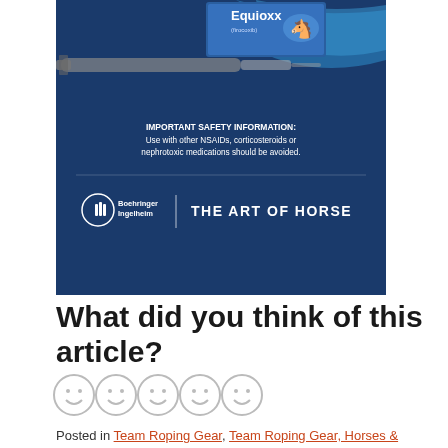[Figure (advertisement): Boehringer Ingelheim Equioxx (firocoxib) advertisement on dark blue background. Shows product box and syringe at top. Safety information text: 'IMPORTANT SAFETY INFORMATION: Use with other NSAIDs, corticosteroids or nephrotoxic medications should be avoided.' Boehringer Ingelheim logo and 'THE ART OF HORSE' tagline at bottom.]
What did you think of this article?
[Figure (illustration): Five smiley face emoji rating circles in a row (rating scale)]
Posted in Team Roping Gear, Team Roping Gear, Horses &